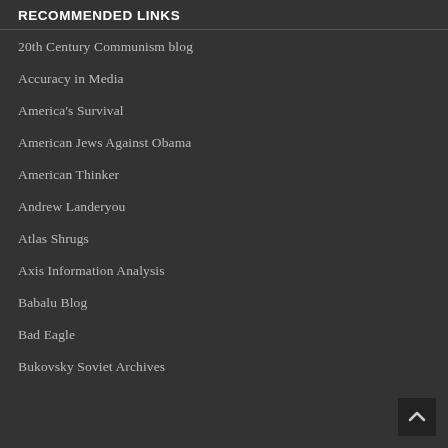RECOMMENDED LINKS
20th Century Communism blog
Accuracy in Media
America's Survival
American Jews Against Obama
American Thinker
Andrew Landeryou
Atlas Shrugs
Axis Information Analysis
Babalu Blog
Bad Eagle
Bukovsky Soviet Archives